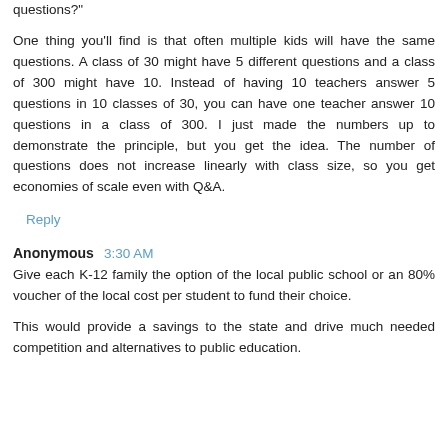questions?"
One thing you'll find is that often multiple kids will have the same questions. A class of 30 might have 5 different questions and a class of 300 might have 10. Instead of having 10 teachers answer 5 questions in 10 classes of 30, you can have one teacher answer 10 questions in a class of 300. I just made the numbers up to demonstrate the principle, but you get the idea. The number of questions does not increase linearly with class size, so you get economies of scale even with Q&A.
Reply
Anonymous  3:30 AM
Give each K-12 family the option of the local public school or an 80% voucher of the local cost per student to fund their choice.
This would provide a savings to the state and drive much needed competition and alternatives to public education.